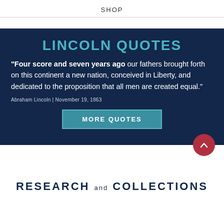SHOP
LINCOLN QUOTES
"Four score and seven years ago our fathers brought forth on this continent a new nation, conceived in Liberty, and dedicated to the proposition that all men are created equal."
Abraham Lincoln | November 19, 1863
MORE QUOTES
RESEARCH and COLLECTIONS